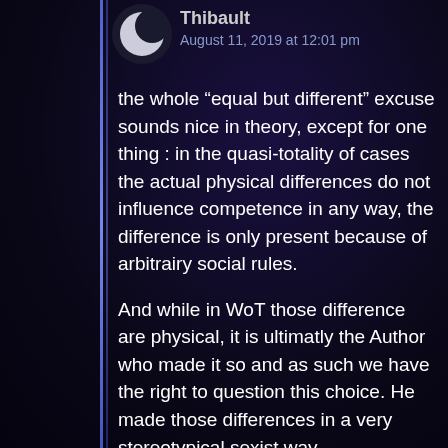Thibault
August 11, 2019 at 12:01 pm
the whole “equal but different” excuse sounds nice in theory, except for one thing : in the quasi-totality of cases the actual physical differences do not influence competence in any way, the difference is only present because of arbitrairy social rules.
And while in WoT those difference are physical, it is ultimatly the Author who made it so and as such we have the right to question this choice. He made those differences in a very stereotypical sexist way.
The f...